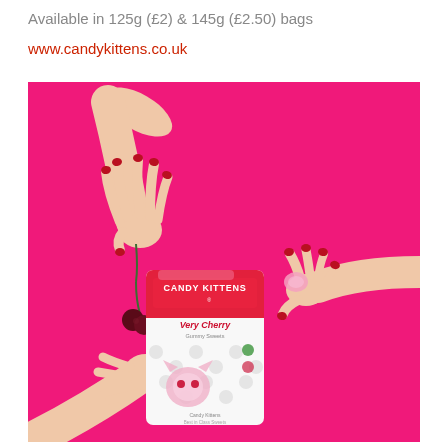Available in 125g (£2) & 145g (£2.50) bags
www.candykittens.co.uk
[Figure (photo): Product photo on bright pink background: left hand with red nails holding a cherry by the stem, right hand with red nails holding a pink candy piece, bottom hand holding a Candy Kittens Very Cherry gummy sweets bag (white with pink branding and polka dots).]